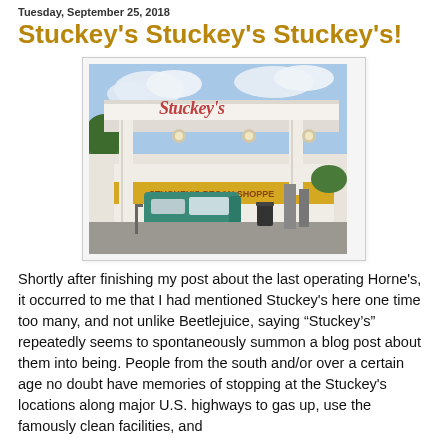Tuesday, September 25, 2018
Stuckey's Stuckey's Stuckey's!
[Figure (photo): A Stuckey's gas station and convenience store with a green van parked under a large white canopy. The Stuckey's script logo is visible on the canopy fascia. Blue sky and trees in the background.]
Shortly after finishing my post about the last operating Horne's, it occurred to me that I had mentioned Stuckey's here one time too many, and not unlike Beetlejuice, saying “Stuckey’s” repeatedly seems to spontaneously summon a blog post about them into being. People from the south and/or over a certain age no doubt have memories of stopping at the Stuckey's locations along major U.S. highways to gas up, use the famously clean facilities, and